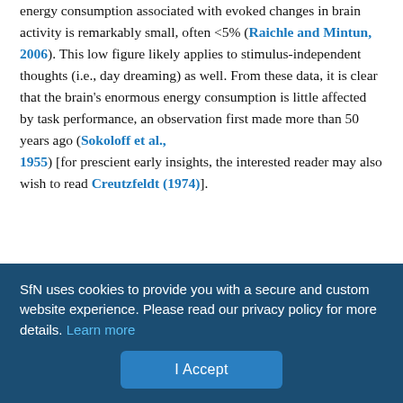energy consumption associated with evoked changes in brain activity is remarkably small, often <5% (Raichle and Mintun, 2006). This low figure likely applies to stimulus-independent thoughts (i.e., day dreaming) as well. From these data, it is clear that the brain's enormous energy consumption is little affected by task performance, an observation first made more than 50 years ago (Sokoloff et al., 1955) [for prescient early insights, the interested reader may also wish to read Creutzfeldt (1974)].
What is the nature of this ongoing intrinsic activity that commands such a large amount of the brain's energy resources? Measurements of brain energy metabolism using magnetic resonance spectroscopy (Sibson et al., 1997; Sibson et al., 1998; Shulman et al., 2001, 2004) in a variety of experimental settings have indicated that 60–
SfN uses cookies to provide you with a secure and custom website experience. Please read our privacy policy for more details. Learn more